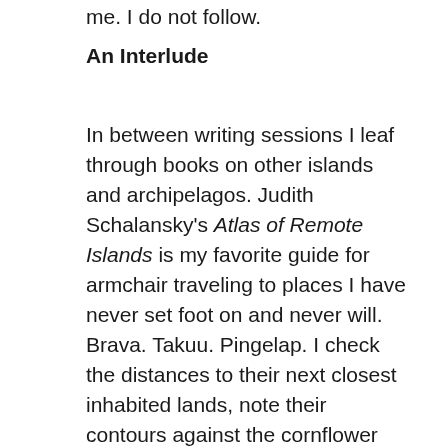me. I do not follow.
An Interlude
In between writing sessions I leaf through books on other islands and archipelagos. Judith Schalansky's Atlas of Remote Islands is my favorite guide for armchair traveling to places I have never set foot on and never will. Brava. Takuu. Pingelap. I check the distances to their next closest inhabited lands, note their contours against the cornflower blue sea, try out their imposed and secret names. Schalansky conveys their histories in terse communiqués, like Morse code pulses of dots and dashes, slipping impressions between borders both real and